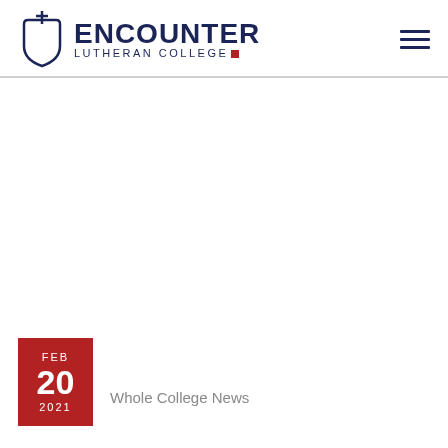[Figure (logo): Encounter Lutheran College logo with cross and shield icon, dark navy blue text]
Whole College News
FEB 20 2021